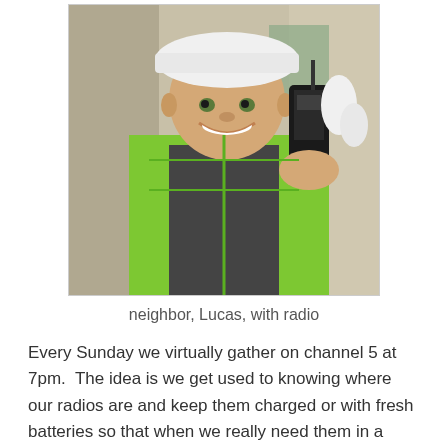[Figure (photo): A man wearing a white hard hat and bright green safety vest, smiling and holding up a handheld radio/walkie-talkie. He is taking a selfie indoors.]
neighbor, Lucas, with radio
Every Sunday we virtually gather on channel 5 at 7pm.  The idea is we get used to knowing where our radios are and keep them charged or with fresh batteries so that when we really need them in a disaster, we'll be ready and